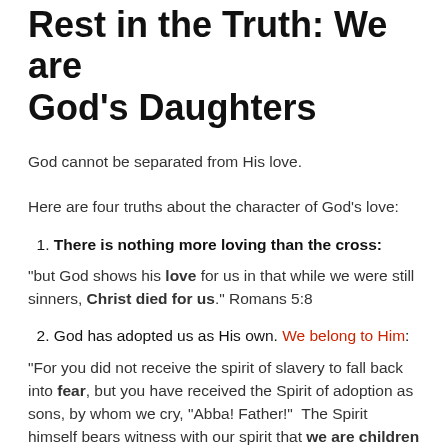Rest in the Truth: We are God's Daughters
God cannot be separated from His love.
Here are four truths about the character of God's love:
1. There is nothing more loving than the cross:
“but God shows his love for us in that while we were still sinners, Christ died for us.” Romans 5:8
2. God has adopted us as His own. We belong to Him:
“For you did not receive the spirit of slavery to fall back into fear, but you have received the Spirit of adoption as sons, by whom we cry, “Abba! Father!”  The Spirit himself bears witness with our spirit that we are children of God.” Romans 8:15-16